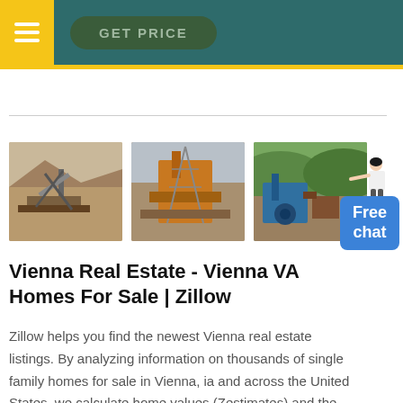GET PRICE
[Figure (photo): Three quarry/mining equipment site photographs side by side]
[Figure (illustration): Free chat button with woman figure pointing to it]
Vienna Real Estate - Vienna VA Homes For Sale | Zillow
Zillow helps you find the newest Vienna real estate listings. By analyzing information on thousands of single family homes for sale in Vienna, ia and across the United States, we calculate home values (Zestimates) and the Zillow Home Value